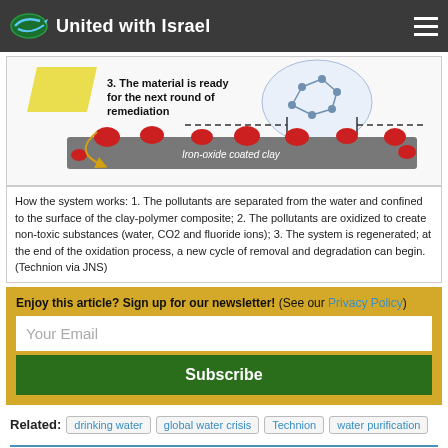United with Israel
[Figure (illustration): Diagram showing iron-oxide coated clay with step 3: The material is ready for the next round of remediation. Shows red pollutants on grey clay surface with molecular structure illustration and dashed arrows.]
How the system works: 1. The pollutants are separated from the water and confined to the surface of the clay-polymer composite; 2. The pollutants are oxidized to create non-toxic substances (water, CO2 and fluoride ions); 3. The system is regenerated; at the end of the oxidation process, a new cycle of removal and degradation can begin. (Technion via JNS)
Enjoy this article? Sign up for our newsletter! (See our Privacy Policy)
Related: drinking water  global water crisis  Technion  water purification
Leave a Reply / Cancel reply